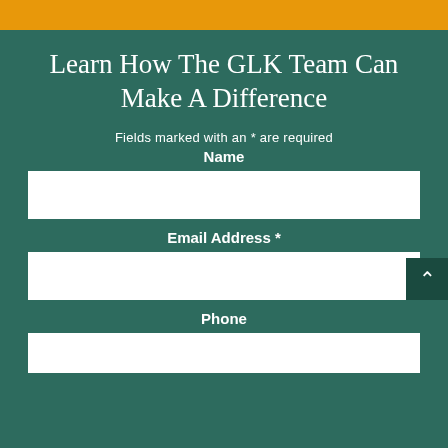[Figure (other): Orange bar at top of page]
Learn How The GLK Team Can Make A Difference
Fields marked with an * are required
Name
Email Address *
Phone